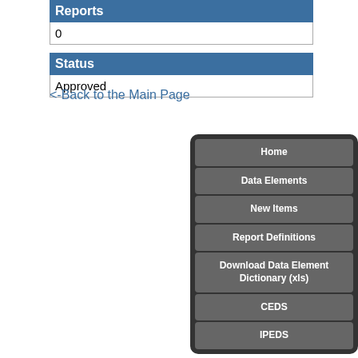| Reports |
| --- |
| 0 |
| Status |
| --- |
| Approved |
<-Back to the Main Page
[Figure (screenshot): Navigation panel with dark background containing menu items: Home, Data Elements, New Items, Report Definitions, Download Data Element Dictionary (xls), CEDS, IPEDS]